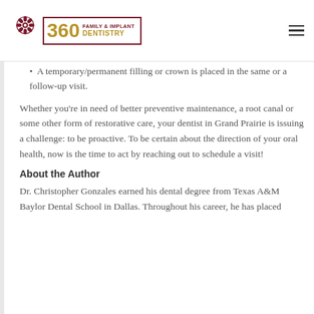360 Family & Implant Dentistry
A temporary/permanent filling or crown is placed in the same or a follow-up visit.
Whether you're in need of better preventive maintenance, a root canal or some other form of restorative care, your dentist in Grand Prairie is issuing a challenge: to be proactive. To be certain about the direction of your oral health, now is the time to act by reaching out to schedule a visit!
About the Author
Dr. Christopher Gonzales earned his dental degree from Texas A&M Baylor Dental School in Dallas. Throughout his career, he has placed